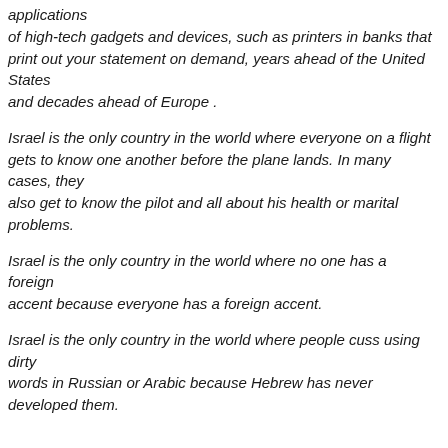applications of high-tech gadgets and devices, such as printers in banks that print out your statement on demand, years ahead of the United States and decades ahead of Europe .
Israel is the only country in the world where everyone on a flight gets to know one another before the plane lands. In many cases, they also get to know the pilot and all about his health or marital problems.
Israel is the only country in the world where no one has a foreign accent because everyone has a foreign accent.
Israel is the only country in the world where people cuss using dirty words in Russian or Arabic because Hebrew has never developed them.